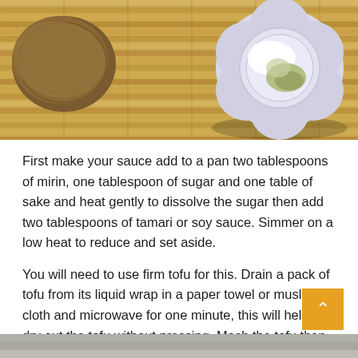[Figure (photo): Top-down photo of a wooden bamboo mat with a coconut and a flower-shaped ceramic bowl containing white and green spices/seasonings]
First make your sauce add to a pan two tablespoons of mirin, one tablespoon of sugar and one table of sake and heat gently to dissolve the sugar then add two tablespoons of tamari or soy sauce. Simmer on a low heat to reduce and set aside.
You will need to use firm tofu for this. Drain a pack of tofu from its liquid wrap in a paper towel or muslin cloth and microwave for one minute, this will help to dry out the tofu without pressing. Mash the tofu then tip it into the middle of a cotton cloth so you can use to it to squeeze out the liquid, a nut milking bag is especially good for this.
[Figure (photo): Partial bottom strip showing another food photo below]